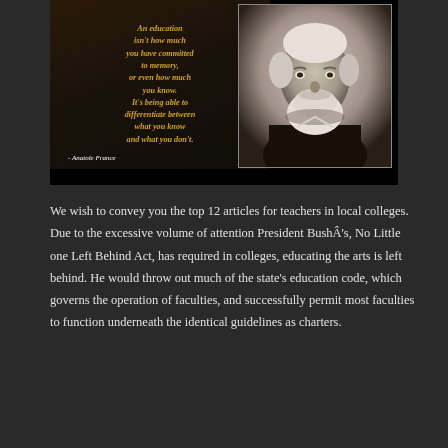[Figure (illustration): Motivational quote image with dark background and golden text: 'An education isn't how much you have committed to memory, or even how much you know. It's being able to differentiate between what you know and what you don't. - Anatole France', alongside a black-and-white portrait photograph of Anatole France, an elderly bearded man.]
We wish to convey you the top 12 articles for teachers in local colleges. Due to the excessive volume of attention President BushÂ's, No Little one Left Behind Act, has required in colleges, educating the arts is left behind. He would throw out much of the state's education code, which governs the operation of faculties, and successfully permit most faculties to function underneath the identical guidelines as charters.